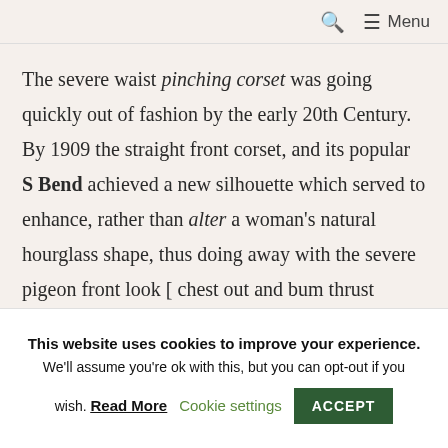🔍 ☰ Menu
The severe waist pinching corset was going quickly out of fashion by the early 20th Century. By 1909 the straight front corset, and its popular S Bend achieved a new silhouette which served to enhance, rather than alter a woman's natural hourglass shape, thus doing away with the severe pigeon front look [ chest out and bum thrust
This website uses cookies to improve your experience. We'll assume you're ok with this, but you can opt-out if you wish. Read More Cookie settings ACCEPT